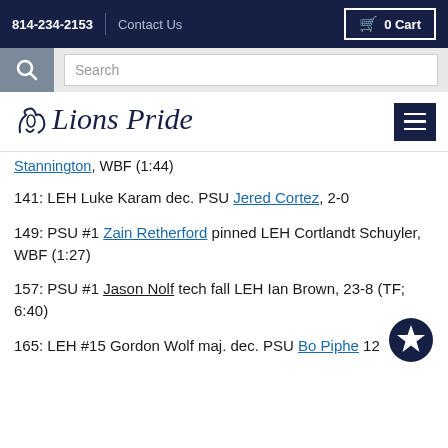814-234-2153  Contact Us  0 Cart
Search
Lions Pride [logo] [menu]
Stannington, WBF (1:44)
141: LEH Luke Karam dec. PSU Jered Cortez, 2-0
149: PSU #1 Zain Retherford pinned LEH Cortlandt Schuyler, WBF (1:27)
157: PSU #1 Jason Nolf tech fall LEH Ian Brown, 23-8 (TF; 6:40)
165: LEH #15 Gordon Wolf maj. dec. PSU Bo Piphe 12